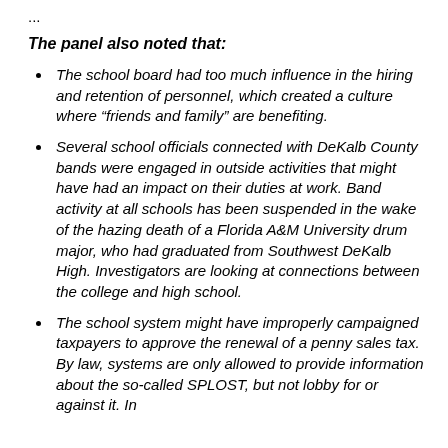...
The panel also noted that:
The school board had too much influence in the hiring and retention of personnel, which created a culture where “friends and family” are benefiting.
Several school officials connected with DeKalb County bands were engaged in outside activities that might have had an impact on their duties at work. Band activity at all schools has been suspended in the wake of the hazing death of a Florida A&M University drum major, who had graduated from Southwest DeKalb High. Investigators are looking at connections between the college and high school.
The school system might have improperly campaigned taxpayers to approve the renewal of a penny sales tax. By law, systems are only allowed to provide information about the so-called SPLOST, but not lobby for or against it. In